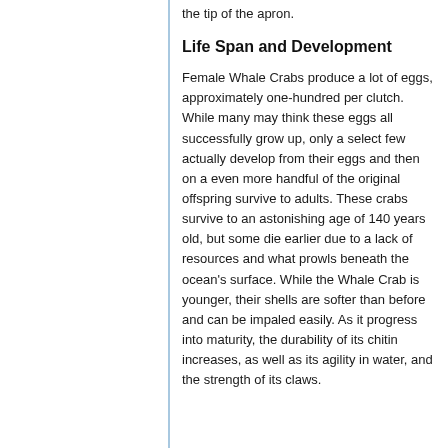the tip of the apron.
Life Span and Development
Female Whale Crabs produce a lot of eggs, approximately one-hundred per clutch. While many may think these eggs all successfully grow up, only a select few actually develop from their eggs and then on a even more handful of the original offspring survive to adults. These crabs survive to an astonishing age of 140 years old, but some die earlier due to a lack of resources and what prowls beneath the ocean's surface. While the Whale Crab is younger, their shells are softer than before and can be impaled easily. As it progress into maturity, the durability of its chitin increases, as well as its agility in water, and the strength of its claws.